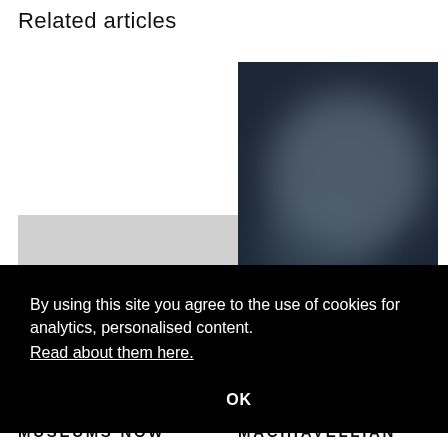Related articles
[Figure (photo): Light gray placeholder image for a related article on the left side]
[Figure (photo): Dark blue-gray blurred abstract photo for a related article on the right side]
By using this site you agree to the use of cookies for analytics, personalised content.
Read about them here.
OK
MUSEUMS NOW
MACHIAVELLIAN